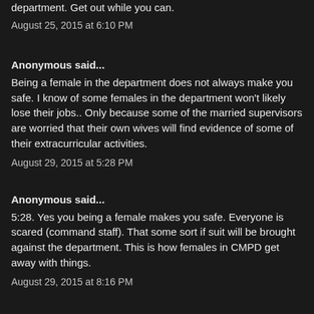department. Get out while you can.
August 25, 2015 at 6:10 PM
Anonymous said...
Being a female in the department does not always make you safe. I know of some females in the department won't likely lose their jobs.. Only because some of the married supervisors are worried that their own wives will find evidence of some of their extracurricular activities.
August 29, 2015 at 5:28 PM
Anonymous said...
5:28. Yes you being a female makes you safe. Everyone is scared (command staff). That some sort if suit will be brought against the department. This is how females in CMPD get away with things.
August 29, 2015 at 8:16 PM